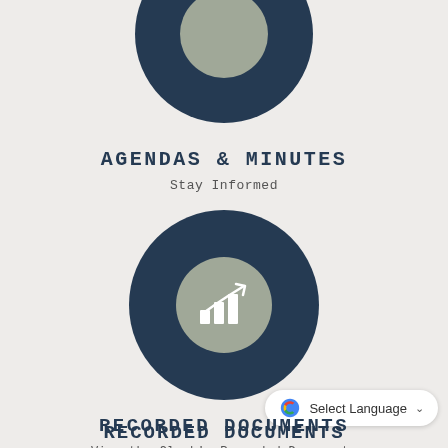[Figure (illustration): Partial dark navy circle at the top of the page (cut off), with a grey inner circle, representing a navigation icon button]
AGENDAS & MINUTES
Stay Informed
[Figure (illustration): Dark navy circle with a grey inner circle containing a white bar chart with upward trending arrow icon]
RECORDED DOCUMENTS
View the Clerk's Recorded Documents
[Figure (illustration): Partial dark navy circle at the bottom (cut off), with a grey inner circle containing a white location pin icon]
Select Language